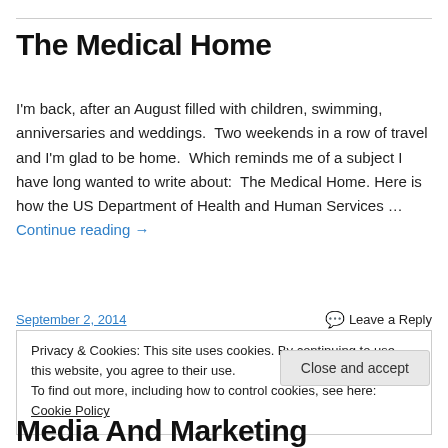The Medical Home
I'm back, after an August filled with children, swimming, anniversaries and weddings.  Two weekends in a row of travel and I'm glad to be home.  Which reminds me of a subject I have long wanted to write about:  The Medical Home. Here is how the US Department of Health and Human Services … Continue reading →
September 2, 2014    💬 Leave a Reply
Privacy & Cookies: This site uses cookies. By continuing to use this website, you agree to their use.
To find out more, including how to control cookies, see here: Cookie Policy
Close and accept
Media And Marketing